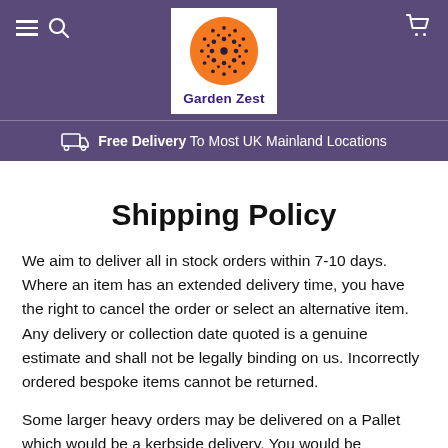[Figure (logo): Garden Zest logo: orange circle with dark dot pattern, text 'Garden Zest' in dark purple below]
Free Delivery  To Most UK Mainland Locations
Shipping Policy
We aim to deliver all in stock orders within 7-10 days. Where an item has an extended delivery time, you have the right to cancel the order or select an alternative item. Any delivery or collection date quoted is a genuine estimate and shall not be legally binding on us. Incorrectly ordered bespoke items cannot be returned.
Some larger heavy orders may be delivered on a Pallet which would be a kerbside delivery. You would be responsible for